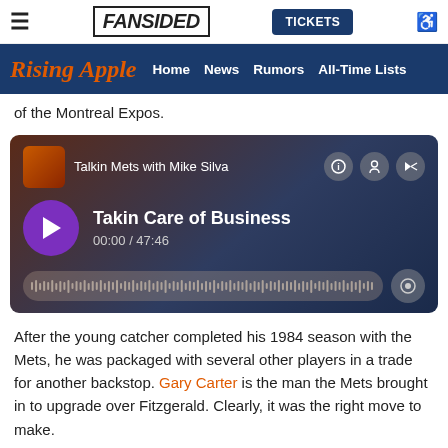≡  FANSIDED  TICKETS  ♿
Rising Apple  Home  News  Rumors  All-Time Lists
of the Montreal Expos.
[Figure (other): Podcast player embed: 'Talkin Mets with Mike Silva' — Episode: Takin Care of Business, 00:00 / 47:46]
After the young catcher completed his 1984 season with the Mets, he was packaged with several other players in a trade for another backstop. Gary Carter is the man the Mets brought in to upgrade over Fitzgerald. Clearly, it was the right move to make.
Kazuo Matsui